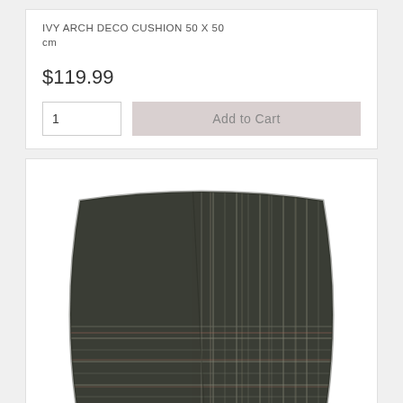IVY ARCH DECO CUSHION 50 X 50 cm
$119.99
1  Add to Cart
[Figure (photo): Dark green/charcoal checkered cushion with plaid pattern, featuring vertical stripes on the right half and horizontal stripes on the lower half]
GREEN CHECKERED CUSHION 60